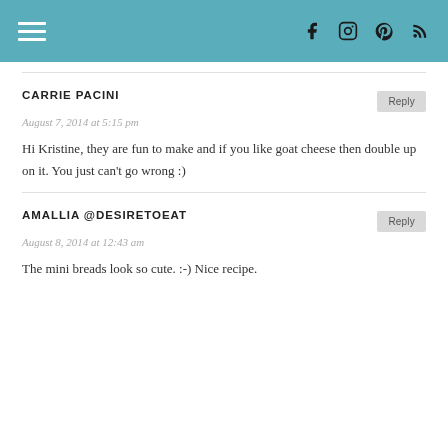Navigation header with hamburger menu and social icons (Facebook, Instagram, Pinterest, RSS)
CARRIE PACINI
August 7, 2014 at 5:15 pm
Hi Kristine, they are fun to make and if you like goat cheese then double up on it. You just can't go wrong :)
AMALLIA @DESIRETOEAT
August 8, 2014 at 12:43 am
The mini breads look so cute. :-) Nice recipe.